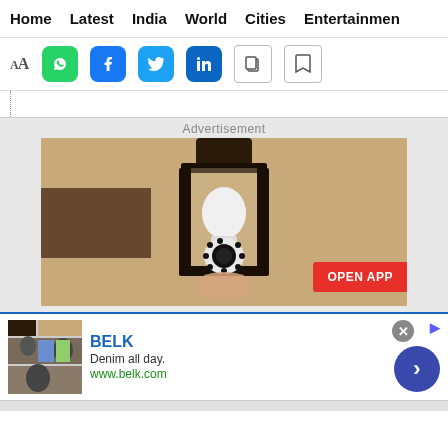Home  Latest  India  World  Cities  Entertainment
[Figure (screenshot): Social sharing toolbar with font size icons (AA), WhatsApp, Facebook, Twitter, LinkedIn, copy, and bookmark icons]
[Figure (photo): Advertisement showing a security camera shaped like a light bulb installed in an outdoor lantern fixture on a stucco wall, with an OPEN APP button]
Advertisement
[Figure (screenshot): Bottom advertisement banner for BELK - Denim all day. www.belk.com with close button, ad flag, and next arrow button]